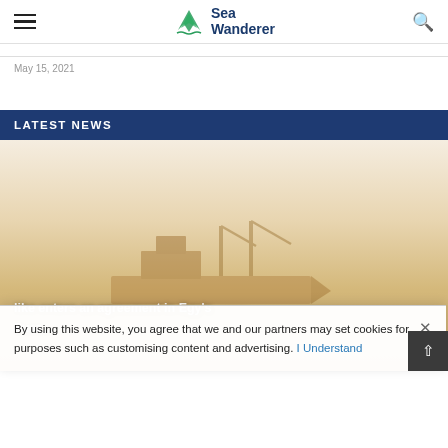Sea Wanderer
May 15, 2021
LATEST NEWS
[Figure (photo): Faded warm-toned image of a cargo ship silhouette with cranes, overlaid with text about an agreement in Egypt's Suez...]
By using this website, you agree that we and our partners may set cookies for purposes such as customising content and advertising. I Understand